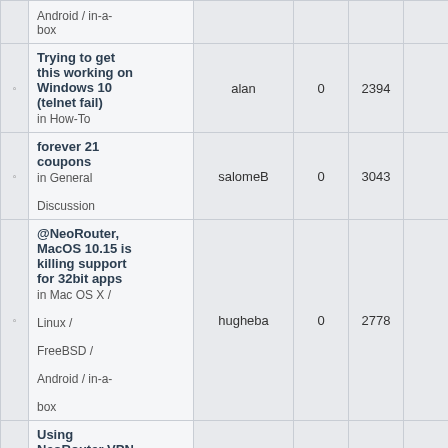|  | Topic | Author | Replies | Views | Last Post |
| --- | --- | --- | --- | --- | --- |
| ◦ | Android / in-a-box |  |  |  |  |
| ◦ | Trying to get this working on Windows 10 (telnet fail)
in How-To | alan | 0 | 2394 | Mon Ju
10
al |
| ◦ | forever 21 coupons
in General Discussion | salomeB | 0 | 3043 | Thu Ju
12
salo |
| ◦ | @NeoRouter, MacOS 10.15 is killing support for 32bit apps
in Mac OS X / Linux / FreeBSD / Android / in-a-box | hugheba | 0 | 2778 | Tue Ju
9:
hugh |
| ◦ | Using NeoRouter VPN for system management
in General | tdh10 | 0 | 3081 | Mon Ju
3:
tdh |